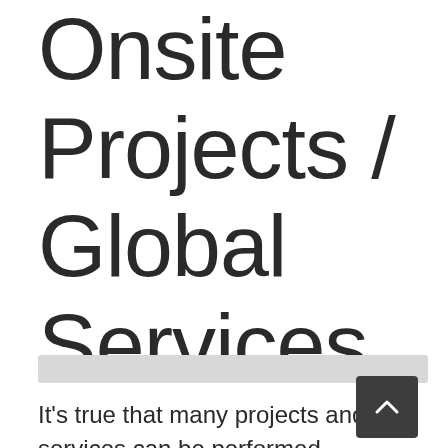Onsite Projects / Global Services
It's true that many projects and services can be performed remotely. However, with certain